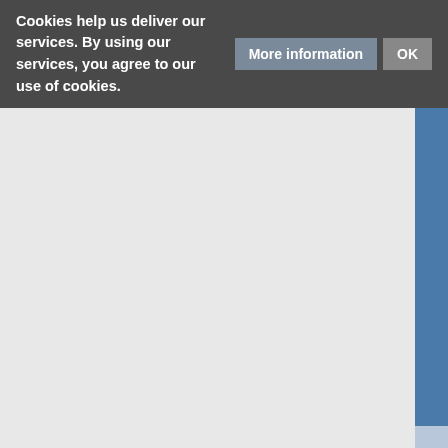[Figure (screenshot): A cookie consent banner overlay on a web application interface. The banner shows bold white text reading 'Cookies help us deliver our services. By using our services, you agree to our use of cookies.' with 'More information' and 'OK' buttons. Below the banner is a vertical navigation sidebar menu with items: Settings, Log Files, Inspect Data, Sensors, Weather Station, Weather Networks, Define Chart (highlighted/active), Show Chart, Instruments, License. The sidebar is blue/steel-blue colored. To the left is a gray panel area. To the right is a scrollbar and another lighter panel.]